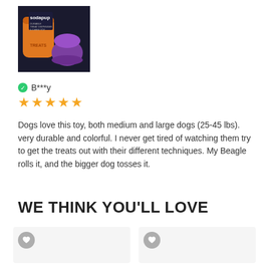[Figure (photo): Product photo showing two dog treat dispensing toys (sodapup brand) — one orange cylindrical and one purple, on a dark background with packaging visible.]
B***y
★★★★★ (5 stars)
Dogs love this toy, both medium and large dogs (25-45 lbs). very durable and colorful. I never get tired of watching them try to get the treats out with their different techniques. My Beagle rolls it, and the bigger dog tosses it.
WE THINK YOU'LL LOVE
[Figure (photo): Product card thumbnail placeholder (left) with heart/wishlist icon.]
[Figure (photo): Product card thumbnail placeholder (right) with heart/wishlist icon.]